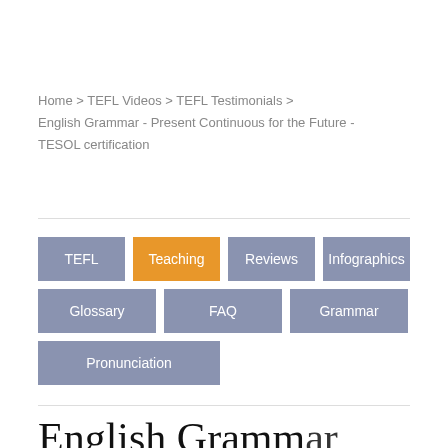Home > TEFL Videos > TEFL Testimonials > English Grammar - Present Continuous for the Future - TESOL certification
[Figure (other): Navigation buttons: TEFL, Teaching (active/orange), Reviews, Infographics, Glossary, FAQ, Grammar, Pronunciation]
English Grammar